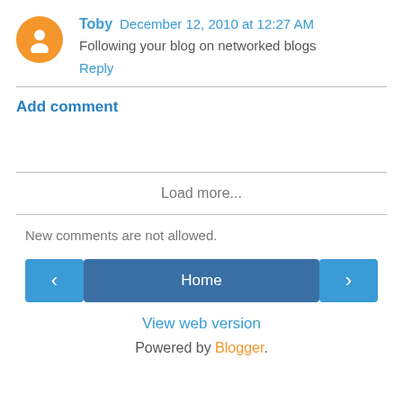Toby  December 12, 2010 at 12:27 AM
Following your blog on networked blogs
Reply
Add comment
Load more...
New comments are not allowed.
‹  Home  ›
View web version
Powered by Blogger.